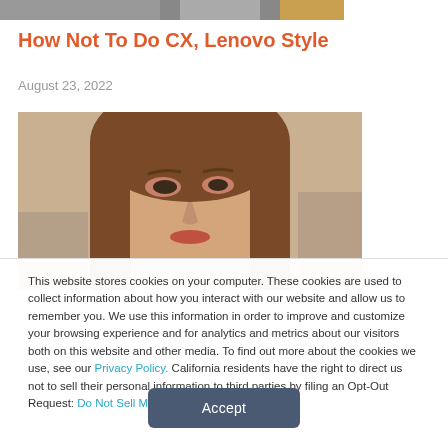[Figure (photo): Partial top image cropped at top of page showing dark and light surfaces]
How Not To Do CX, Lenovo Style
August 23, 2022
[Figure (photo): Close-up photo of a woman with long brown hair, looking slightly upward, blurred background]
This website stores cookies on your computer. These cookies are used to collect information about how you interact with our website and allow us to remember you. We use this information in order to improve and customize your browsing experience and for analytics and metrics about our visitors both on this website and other media. To find out more about the cookies we use, see our Privacy Policy. California residents have the right to direct us not to sell their personal information to third parties by filing an Opt-Out Request: Do Not Sell My Personal Info.